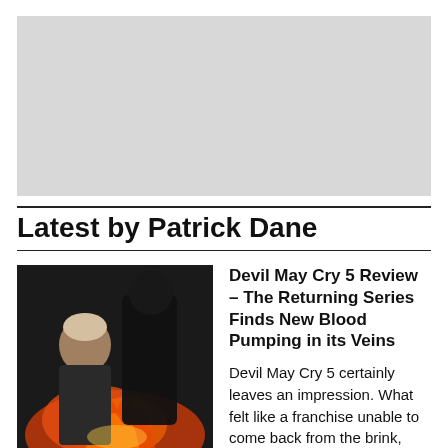[Figure (other): Gray placeholder rectangle for an advertisement or image banner]
Latest by Patrick Dane
[Figure (photo): Screenshot or promotional image from Devil May Cry 5 showing two game characters — one with light hair, one in dark clothing — against a fiery background]
Devil May Cry 5 Review – The Returning Series Finds New Blood Pumping in its Veins
Devil May Cry 5 certainly leaves an impression. What felt like a franchise unable to come back from the brink, now feels like one with a future.